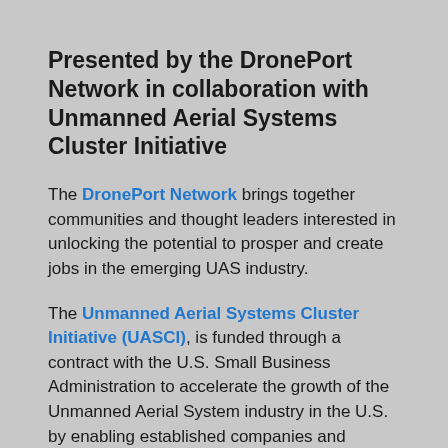Presented by the DronePort Network in collaboration with Unmanned Aerial Systems Cluster Initiative
The DronePort Network brings together communities and thought leaders interested in unlocking the potential to prosper and create jobs in the emerging UAS industry.
The Unmanned Aerial Systems Cluster Initiative (UASCI), is funded through a contract with the U.S. Small Business Administration to accelerate the growth of the Unmanned Aerial System industry in the U.S. by enabling established companies and emerging